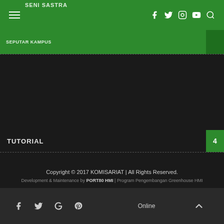SENI SASTRA | SEPUTAR KAMPUS | navigation and social icons
TUTORIAL 4
FIND US ON FACEBOOK
Copyright © 2017 KOMISARIAT | All Rights Reserved. Development & Maintenance by PORT80 HMI | Program Pengembangan Greenhouse HMI Online